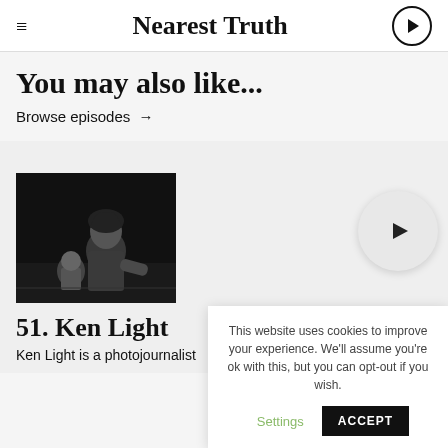Nearest Truth
You may also like...
Browse episodes →
[Figure (photo): Black and white photograph of a woman with a child, looking away from camera, outdoors at night.]
51. Ken Light
Ken Light is a photojournalist
This website uses cookies to improve your experience. We'll assume you're ok with this, but you can opt-out if you wish.
Settings    ACCEPT